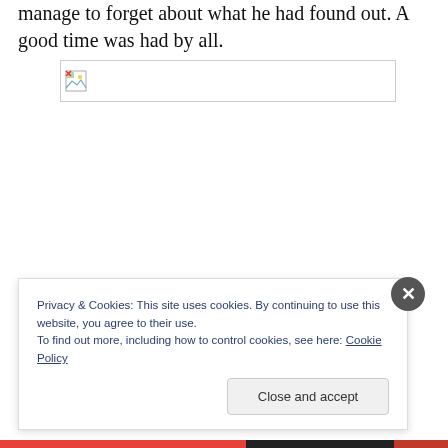manage to forget about what he had found out. A good time was had by all.
[Figure (photo): Broken/missing image placeholder with small image icon in upper-left corner]
Privacy & Cookies: This site uses cookies. By continuing to use this website, you agree to their use.
To find out more, including how to control cookies, see here: Cookie Policy
Close and accept